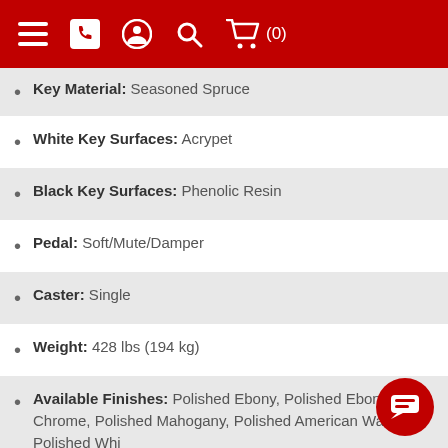Navigation header with menu, phone, account, search, and cart icons
Key Material: Seasoned Spruce
White Key Surfaces: Acrypet
Black Key Surfaces: Phenolic Resin
Pedal: Soft/Mute/Damper
Caster: Single
Weight: 428 lbs (194 kg)
Available Finishes: Polished Ebony, Polished Ebony with Chrome, Polished Mahogany, Polished American Walnut, Polished Whi...
Available Upgrades: Silent Piano